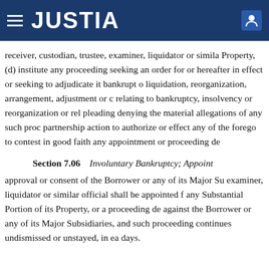JUSTIA
receiver, custodian, trustee, examiner, liquidator or similar Property, (d) institute any proceeding seeking an order for or hereafter in effect or seeking to adjudicate it bankrupt or liquidation, reorganization, arrangement, adjustment or composition relating to bankruptcy, insolvency or reorganization or relief, pleading denying the material allegations of any such proceeding, partnership action to authorize or effect any of the foregoing, or to contest in good faith any appointment or proceeding described.
Section 7.06    Involuntary Bankruptcy; Appointment
approval or consent of the Borrower or any of its Major Subsidiaries, examiner, liquidator or similar official shall be appointed for any Substantial Portion of its Property, or a proceeding described against the Borrower or any of its Major Subsidiaries, and such proceeding continues undismissed or unstayed, in each case days.